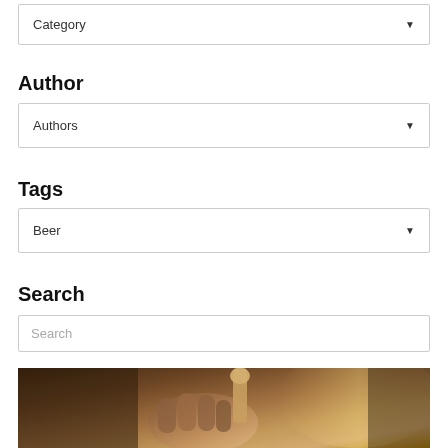Category
Author
Authors
Tags
Beer
Search
Search
[Figure (photo): Close-up photo of a hand holding a beer tap handle in a warm, dimly lit bar setting with golden/amber tones]